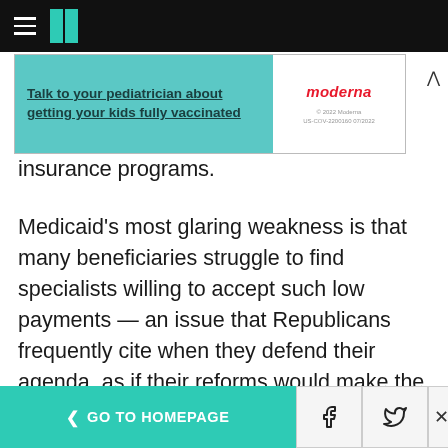HuffPost navigation logo
[Figure (other): Advertisement banner: Talk to your pediatrician about getting your kids fully vaccinated — Moderna. © 2022 Moderna US-COV-2200160 07/2022]
insurance programs.
Medicaid's most glaring weakness is that many beneficiaries struggle to find specialists willing to accept such low payments — an issue that Republicans frequently cite when they defend their agenda, as if their reforms would make the problem better. In reality, spending less on Medicaid is bound to make that problem worse. The same goes for other parts of Medicaid that
< GO TO HOMEPAGE